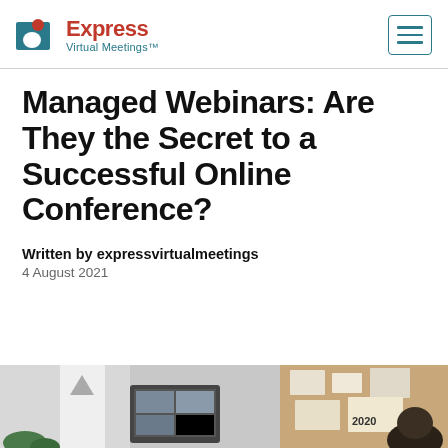Express Virtual Meetings
Managed Webinars: Are They the Secret to a Successful Online Conference?
Written by expressvirtualmeetings
4 August 2021
[Figure (photo): Partial photo showing a person at a desk with a laptop displaying a video conference, and a cork board with papers in the background showing '2020']